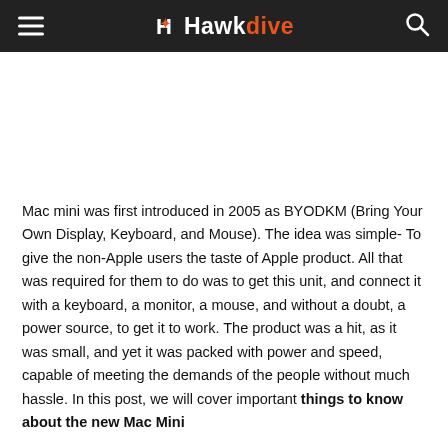Hawkdive
Mac mini was first introduced in 2005 as BYODKM (Bring Your Own Display, Keyboard, and Mouse). The idea was simple- To give the non-Apple users the taste of Apple product. All that was required for them to do was to get this unit, and connect it with a keyboard, a monitor, a mouse, and without a doubt, a power source, to get it to work. The product was a hit, as it was small, and yet it was packed with power and speed, capable of meeting the demands of the people without much hassle. In this post, we will cover important things to know about the new Mac Mini